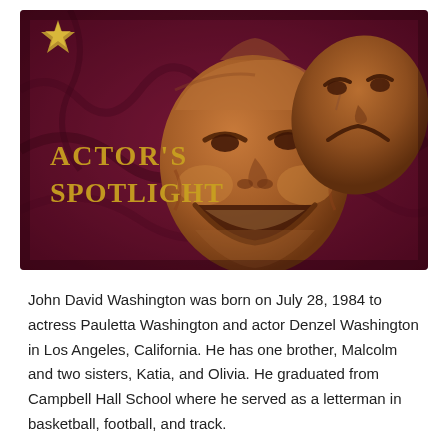[Figure (illustration): Header image for 'Actor's Spotlight' showing two bronze theatrical comedy/tragedy masks on a dark crimson fabric background. Gold text reads 'ACTOR'S SPOTLIGHT' on the left side. A small golden award-like icon appears in the top-left corner.]
John David Washington was born on July 28, 1984 to actress Pauletta Washington and actor Denzel Washington in Los Angeles, California. He has one brother, Malcolm and two sisters, Katia, and Olivia. He graduated from Campbell Hall School where he served as a letterman in basketball, football, and track.